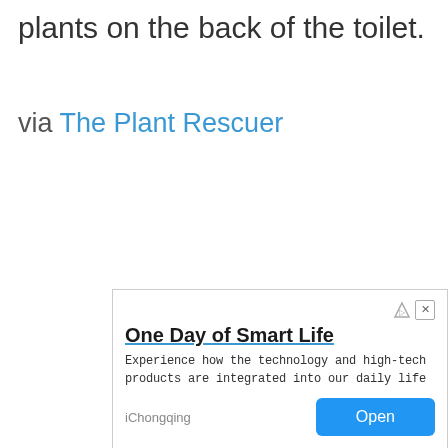plants on the back of the toilet.
via The Plant Rescuer
[Figure (other): Orange circular next button with chevron arrow and 'Next' label, partially visible on right edge]
One Day of Smart Life
Experience how the technology and high-tech products are integrated into our daily life
iChongqing [Open button]